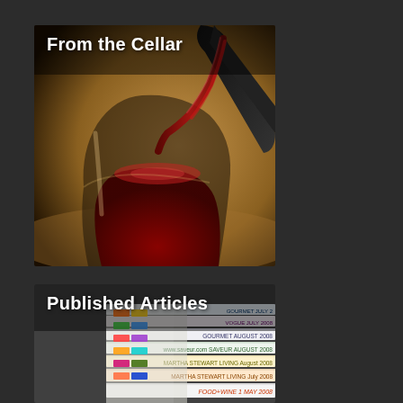[Figure (photo): Photo of red wine being poured from a dark bottle into a stemless wine glass, dark background with warm golden tones. Text overlay 'From the Cellar' in white at the top left.]
[Figure (photo): Photo of a stack of magazines including Gourmet, Martha Stewart Living, and Food & Wine with colorful tab markers. Text overlay 'Published Articles' in white at the top left.]